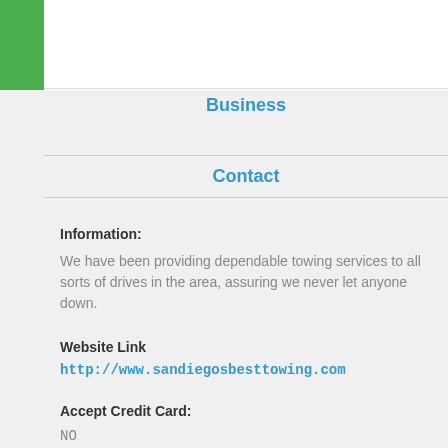Business
Contact
Information:
We have been providing dependable towing services to all sorts of drives in the area, assuring we never let anyone down.
Website Link
http://www.sandiegosbesttowing.com
Accept Credit Card:
NO
Delivery:
NO